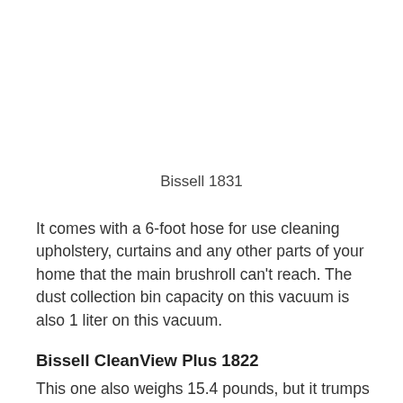Bissell 1831
It comes with a 6-foot hose for use cleaning upholstery, curtains and any other parts of your home that the main brushroll can't reach. The dust collection bin capacity on this vacuum is also 1 liter on this vacuum.
Bissell CleanView Plus 1822
This one also weighs 15.4 pounds, but it trumps over all the other CleanView